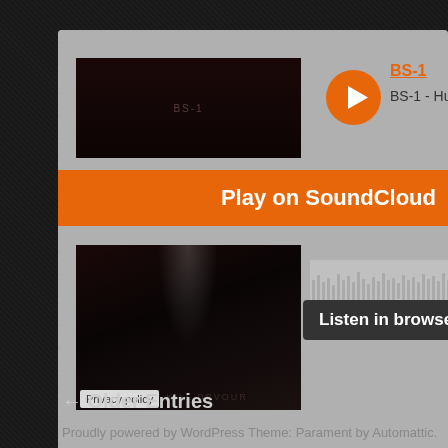[Figure (screenshot): SoundCloud embedded player widget showing album art for BS-1, an orange play button, track title 'BS-1' with link and subtitle 'BS-1 - Hunt-Kill-Devour', an orange 'Play on SoundCloud' banner, a waveform area, a 'Listen in browser' dark button, album art below, and a 'Privacy policy' label.]
← Older Entries
Proudly powered by WordPress Theme: Parament by Automattic.